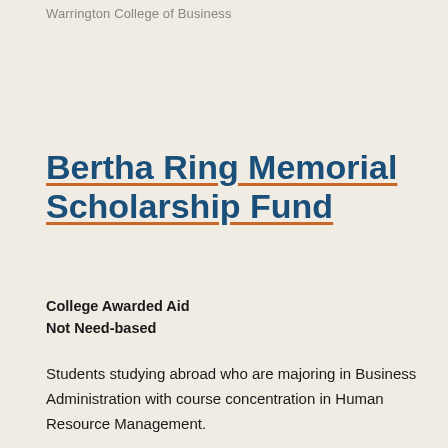Warrington College of Business
Bertha Ring Memorial Scholarship Fund
College Awarded Aid
Not Need-based
Students studying abroad who are majoring in Business Administration with course concentration in Human Resource Management.